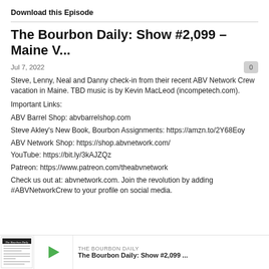Download this Episode
The Bourbon Daily: Show #2,099 – Maine V...
Jul 7, 2022
Steve, Lenny, Neal and Danny check-in from their recent ABV Network Crew vacation in Maine. TBD music is by Kevin MacLeod (incompetech.com).
Important Links:
ABV Barrel Shop: abvbarrelshop.com
Steve Akley's New Book, Bourbon Assignments: https://amzn.to/2Y68Eoy
ABV Network Shop: https://shop.abvnetwork.com/
YouTube: https://bit.ly/3kAJZQz
Patreon: https://www.patreon.com/theabvnetwork
Check us out at: abvnetwork.com. Join the revolution by adding #ABVNetworkCrew to your profile on social media.
[Figure (screenshot): Bottom card showing The Bourbon Daily podcast episode thumbnail, play button, label THE BOURBON DAILY, and title The Bourbon Daily: Show #2,099 ...]